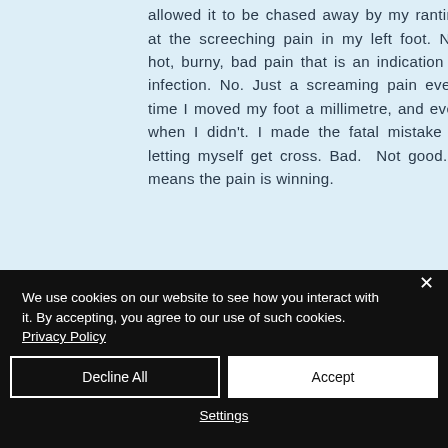allowed it to be chased away by my ranting at the screeching pain in my left foot. Not hot, burny, bad pain that is an indication of infection. No. Just a screaming pain every time I moved my foot a millimetre, and even when I didn't. I made the fatal mistake of letting myself get cross. Bad. Not good. It means the pain is winning.
We use cookies on our website to see how you interact with it. By accepting, you agree to our use of such cookies. Privacy Policy
Decline All
Accept
Settings